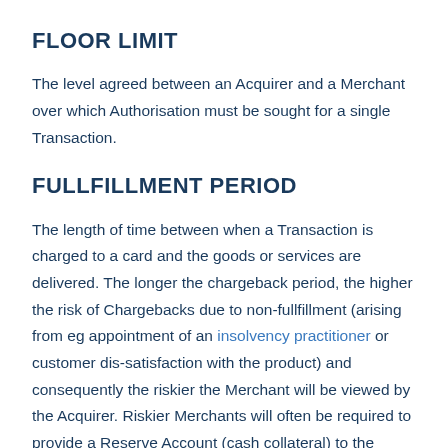FLOOR LIMIT
The level agreed between an Acquirer and a Merchant over which Authorisation must be sought for a single Transaction.
FULLFILLMENT PERIOD
The length of time between when a Transaction is charged to a card and the goods or services are delivered. The longer the chargeback period, the higher the risk of Chargebacks due to non-fullfillment (arising from eg appointment of an insolvency practitioner or customer dis-satisfaction with the product) and consequently the riskier the Merchant will be viewed by the Acquirer. Riskier Merchants will often be required to provide a Reserve Account (cash collateral) to the Acquirer to protect against